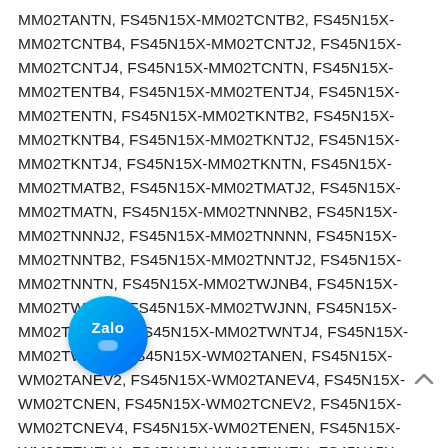MM02TANTN, FS45N15X-MM02TCNTB2, FS45N15X-MM02TCNTB4, FS45N15X-MM02TCNTJ2, FS45N15X-MM02TCNTJ4, FS45N15X-MM02TCNTN, FS45N15X-MM02TENTB4, FS45N15X-MM02TENTJ4, FS45N15X-MM02TENTN, FS45N15X-MM02TKNTB2, FS45N15X-MM02TKNTB4, FS45N15X-MM02TKNTJ2, FS45N15X-MM02TKNTJ4, FS45N15X-MM02TKNTN, FS45N15X-MM02TMATB2, FS45N15X-MM02TMATJ2, FS45N15X-MM02TMATN, FS45N15X-MM02TNNNB2, FS45N15X-MM02TNNNJ2, FS45N15X-MM02TNNNN, FS45N15X-MM02TNNTB2, FS45N15X-MM02TNNTJ2, FS45N15X-MM02TNNTN, FS45N15X-MM02TWJNB4, FS45N15X-MM02TWJNJ4, FS45N15X-MM02TWJNN, FS45N15X-MM02TWNTB4, FS45N15X-MM02TWNTJ4, FS45N15X-MM02TWNTN, FS45N15X-WM02TANEN, FS45N15X-WM02TANEV2, FS45N15X-WM02TANEV4, FS45N15X-WM02TCNEN, FS45N15X-WM02TCNEV2, FS45N15X-WM02TCNEV4, FS45N15X-WM02TENEN, FS45N15X-WM02TENEV4, FS45N15X-WM02TKNEN, FS45N15X-
[Figure (other): Zalo app icon button overlay — circular teal/blue gradient button with 'Zalo' text and chat bubble icon]